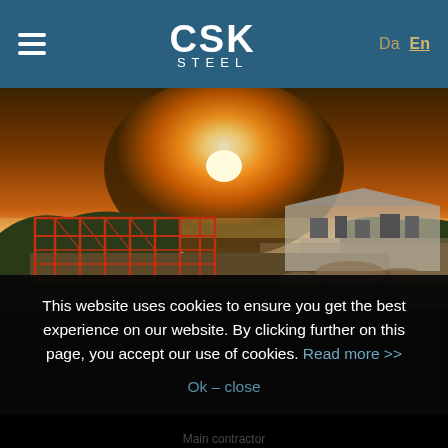CSK STEEL — Da En
[Figure (photo): Aerial drone photograph of a large industrial steel construction site at sunset. Red steel framework of a building under construction visible in the foreground, with flat agricultural fields and trees in the background under a bright orange sunset sky.]
This website uses cookies to ensure you get the best experience on our website. By clicking further on this page, you accept our use of cookies. Read more >>
Ok – close
Main contractor